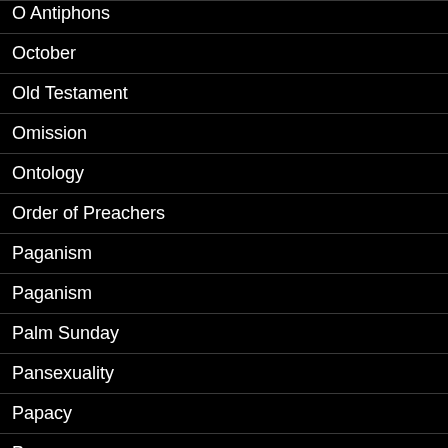O Antiphons
October
Old Testament
Omission
Ontology
Order of Preachers
Paganism
Paganism
Palm Sunday
Pansexuality
Papacy
Papacy
Passiontide